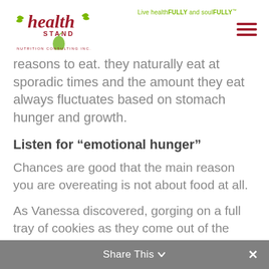Health Stand Nutrition Consulting Inc. — Live healthFULLY and soulFULLY™
reasons to eat. they naturally eat at sporadic times and the amount they eat always fluctuates based on stomach hunger and growth.
Listen for “emotional hunger”
Chances are good that the main reason you are overeating is not about food at all.
As Vanessa discovered, gorging on a full tray of cookies as they come out of the oven was more about feeling unsatisfied and undeserving. It was also about feeling that her body was not good enough the way it was, despite already being in a healthy weight range.
Share This ∨  ✕